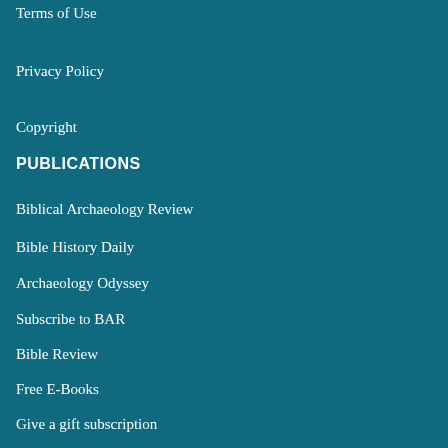Terms of Use
Privacy Policy
Copyright
PUBLICATIONS
Biblical Archaeology Review
Bible History Daily
Archaeology Odyssey
Subscribe to BAR
Bible Review
Free E-Books
Give a gift subscription
Manage your subscription
BIBLICAL ARCHAEOLOGY SOCIETY NETWORK LINKS
Network Home
Events
Bible History Daily
Donate
Biblical Archaeology Review